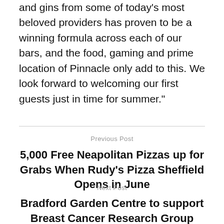and gins from some of today's most beloved providers has proven to be a winning formula across each of our bars, and the food, gaming and prime location of Pinnacle only add to this. We look forward to welcoming our first guests just in time for summer."
Previous Post
5,000 Free Neapolitan Pizzas up for Grabs When Rudy's Pizza Sheffield Opens in June
Next Post
Bradford Garden Centre to support Breast Cancer Research Group with planting demos